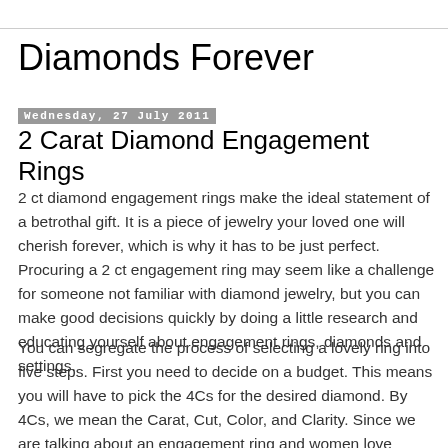Diamonds Forever
Wednesday, 27 July 2011
2 Carat Diamond Engagement Rings
2 ct diamond engagement rings make the ideal statement of a betrothal gift. It is a piece of jewelry your loved one will cherish forever, which is why it has to be just perfect. Procuring a 2 ct engagement ring may seem like a challenge for someone not familiar with diamond jewelry, but you can make good decisions quickly by doing a little research and educating yourself about engagement rings, diamonds and settings.
You can segregate the process of selecting a lovely ring into five steps. First you need to decide on a budget. This means you will have to pick the 4Cs for the desired diamond. By 4Cs, we mean the Carat, Cut, Color, and Clarity. Since we are talking about an engagement ring and women love...